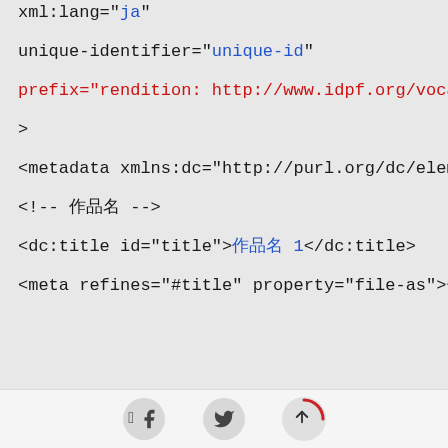xml:lang="ja"
unique-identifier="unique-id"
prefix="rendition: http://www.idpf.org/vocab/renditi
>
<metadata xmlns:dc="http://purl.org/dc/elements/1.1/
<!-- 作品名 -->
<dc:title id="title">作品名 1</dc:title>
<meta refines="#title" property="file-as">セイレツ ヨ
[social icons]